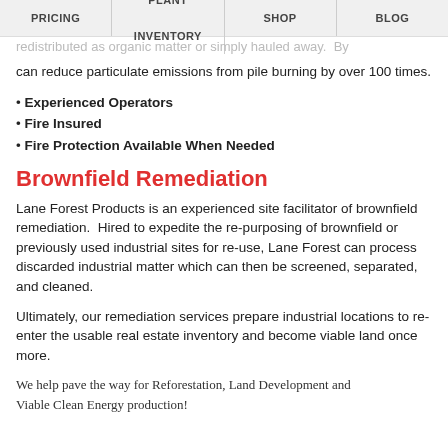PRICING | PLANT INVENTORY | SHOP | BLOG
redistributed as organic matter or simply hauled away. By can reduce particulate emissions from pile burning by over 100 times.
• Experienced Operators
• Fire Insured
• Fire Protection Available When Needed
Brownfield Remediation
Lane Forest Products is an experienced site facilitator of brownfield remediation. Hired to expedite the re-purposing of brownfield or previously used industrial sites for re-use, Lane Forest can process discarded industrial matter which can then be screened, separated, and cleaned.
Ultimately, our remediation services prepare industrial locations to re-enter the usable real estate inventory and become viable land once more.
We help pave the way for Reforestation, Land Development and Viable Clean Energy production!